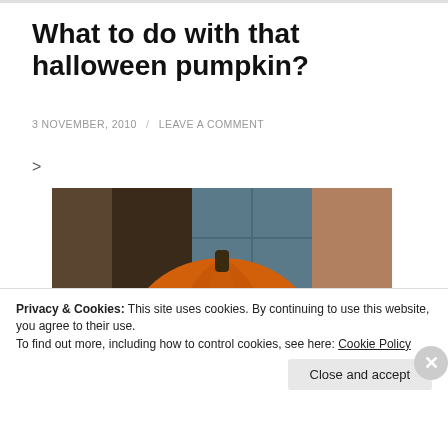What to do with that halloween pumpkin?
3 NOVEMBER, 2010 / LEAVE A COMMENT
>
[Figure (photo): A carved jack-o-lantern pumpkin glowing from inside with an orange light, sitting on what appears to be a surface with candy wrappers nearby, with a window and decorations in the background.]
Privacy & Cookies: This site uses cookies. By continuing to use this website, you agree to their use.
To find out more, including how to control cookies, see here: Cookie Policy
Close and accept